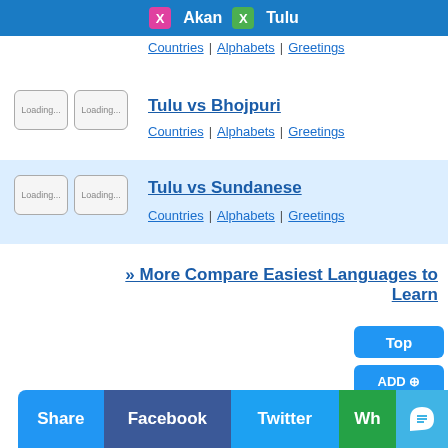Akan  Tulu
Countries | Alphabets | Greetings
Tulu vs Bhojpuri
Countries | Alphabets | Greetings
Tulu vs Sundanese
Countries | Alphabets | Greetings
» More Compare Easiest Languages to Learn
[Figure (screenshot): Top button - blue rounded rectangle with white text 'Top']
[Figure (screenshot): ADD Compare button - blue rounded rectangle with white text 'ADD ⊕ Compare']
Share  Facebook  Twitter  Wh<share icon>